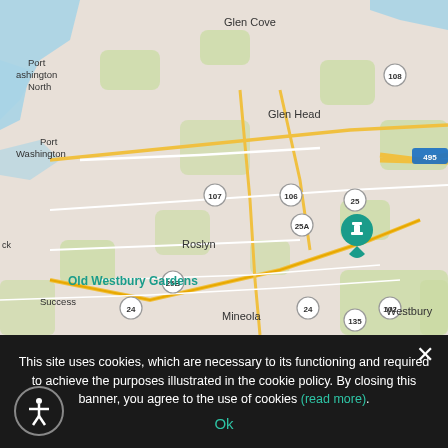[Figure (map): Google Maps screenshot showing Long Island, New York area including Old Westbury Gardens (marked with a teal pin), and surrounding towns: Glen Cove, Oyster Bay, Glen Head, Port Washington, Port Washington North, Roslyn, Jericho, Syosset Woodbury, Plainview, Hicksville, Westbury, Mineola, New Hyde Park, Garden City, Bethpage, Levittown, East Meadow, Uniondale, Farmingdale, Success. Roads include Northern State Pkwy, Wantagh State Pkwy, and route numbers 25A, 107, 106, 25, 108, 495, 25A, 135, 25B, 106, 107, 135, 24, 24, 102, 472.]
This site uses cookies, which are necessary to its functioning and required to achieve the purposes illustrated in the cookie policy. By closing this banner, you agree to the use of cookies (read more).
Ok